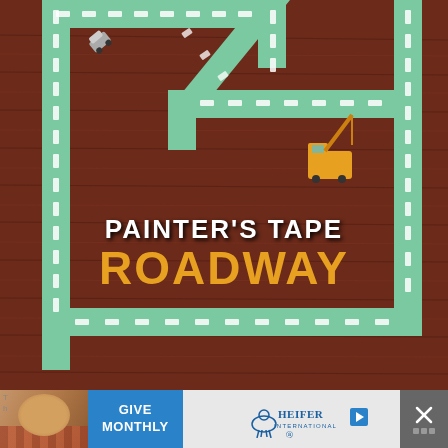[Figure (photo): Photo of a painter's tape roadway made on a dark wood-grain floor. Green painter's tape forms a road track with dashed center lines. Two toy vehicles are visible — a small car on the upper left road section and a yellow construction vehicle/crane truck on the right side. Text overlay reads 'PAINTER'S TAPE ROADWAY' in white and orange bold letters.]
[Figure (photo): Advertisement banner at the bottom showing a child's face on the left, a blue 'GIVE MONTHLY' call-to-action, the Heifer International logo with a cow icon, and a close (X) button on the right.]